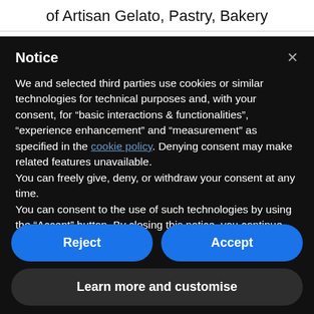of Artisan Gelato, Pastry, Bakery
Notice
We and selected third parties use cookies or similar technologies for technical purposes and, with your consent, for “basic interactions & functionalities”, “experience enhancement” and “measurement” as specified in the cookie policy. Denying consent may make related features unavailable.
You can freely give, deny, or withdraw your consent at any time.
You can consent to the use of such technologies by using the “Accept” button. By closing this notice, you continue without accepting.
Reject
Accept
Learn more and customise